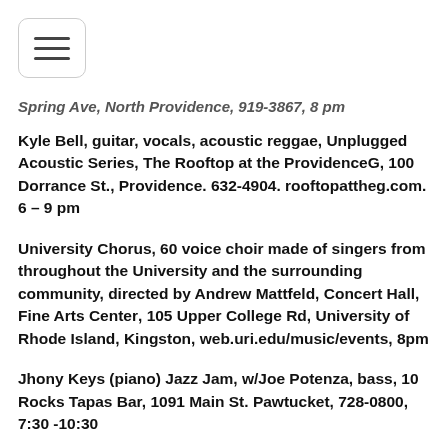[Figure (other): Hamburger menu button icon with three horizontal lines inside a rounded rectangle border]
Spring Ave, North Providence, 919-3867, 8 pm
Kyle Bell, guitar, vocals, acoustic reggae, Unplugged Acoustic Series, The Rooftop at the ProvidenceG, 100 Dorrance St., Providence. 632-4904. rooftopattheg.com. 6 – 9 pm
University Chorus, 60 voice choir made of singers from throughout the University and the surrounding community, directed by Andrew Mattfeld, Concert Hall, Fine Arts Center, 105 Upper College Rd, University of Rhode Island, Kingston, web.uri.edu/music/events, 8pm
Jhony Keys (piano) Jazz Jam, w/Joe Potenza, bass, 10 Rocks Tapas Bar, 1091 Main St. Pawtucket, 728-0800, 7:30 -10:30
The A... at the... Gro... as... Ma...